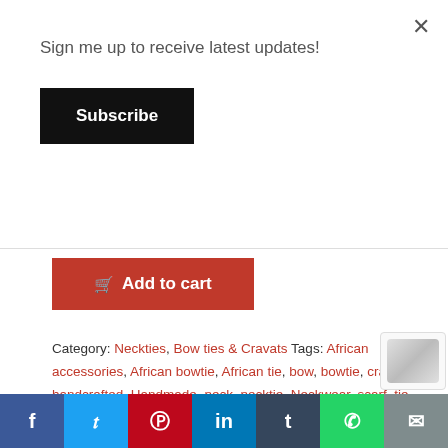×
Sign me up to receive latest updates!
Subscribe
Add to cart
Category: Neckties, Bow ties & Cravats Tags: African accessories, African bowtie, African tie, bow, bowtie, cravat, handcrafted, Handmade, neck, necktie, Neckwear, scarf, tie, Unisex, Urbanized, Urbanized Neckwear
Description